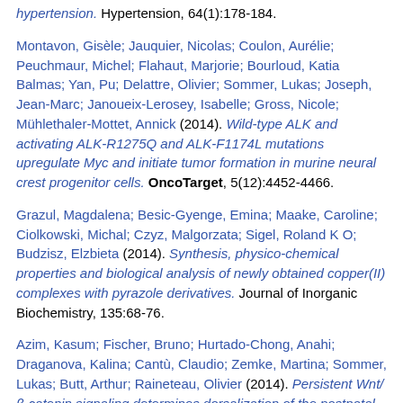hypertension. Hypertension, 64(1):178-184.
Montavon, Gisèle; Jauquier, Nicolas; Coulon, Aurélie; Peuchmaur, Michel; Flahaut, Marjorie; Bourloud, Katia Balmas; Yan, Pu; Delattre, Olivier; Sommer, Lukas; Joseph, Jean-Marc; Janoueix-Lerosey, Isabelle; Gross, Nicole; Mühlethaler-Mottet, Annick (2014). Wild-type ALK and activating ALK-R1275Q and ALK-F1174L mutations upregulate Myc and initiate tumor formation in murine neural crest progenitor cells. OncoTarget, 5(12):4452-4466.
Grazul, Magdalena; Besic-Gyenge, Emina; Maake, Caroline; Ciolkowski, Michal; Czyz, Malgorzata; Sigel, Roland K O; Budzisz, Elzbieta (2014). Synthesis, physico-chemical properties and biological analysis of newly obtained copper(II) complexes with pyrazole derivatives. Journal of Inorganic Biochemistry, 135:68-76.
Azim, Kasum; Fischer, Bruno; Hurtado-Chong, Anahi; Draganova, Kalina; Cantù, Claudio; Zemke, Martina; Sommer, Lukas; Butt, Arthur; Raineteau, Olivier (2014). Persistent Wnt/β-catenin signaling determines dorsalization of the postnatal subventricular zone and neural stem cell specification into oligodendrocytes and glutamatergic neurons. Stem Cells, 32(5):1301-1312.